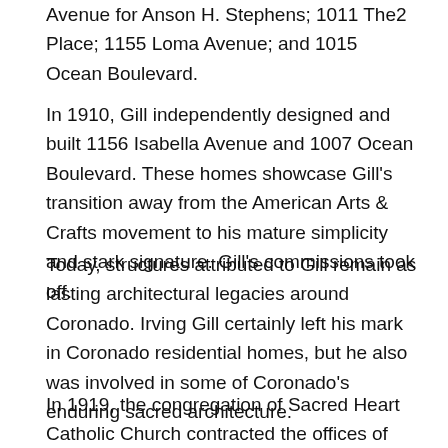Avenue for Anson H. Stephens; 1011 The2 Place; 1155 Loma Avenue; and 1015 Ocean Boulevard.
In 1910, Gill independently designed and built 1156 Isabella Avenue and 1007 Ocean Boulevard. These homes showcase Gill's transition away from the American Arts & Crafts movement to his mature simplicity and stark signature. Gill's commissions took off.
Today, structures attributed to Gill remain as lasting architectural legacies around Coronado. Irving Gill certainly left his mark in Coronado residential homes, but he also was involved in some of Coronado's enduring sacred architecture.
In 1919, the congregation of Sacred Heart Catholic Church contracted the offices of Gill & Gill to design and build a new church. Although the Coronado Strand reported Irving Gill as